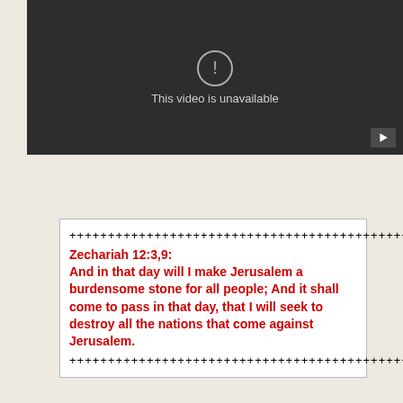[Figure (screenshot): A dark video player showing 'This video is unavailable' message with a warning icon and a play button in the bottom right corner.]
++++++++++++++++++++++++++++++++++++++++++++++++++
Zechariah 12:3,9:
And in that day will I make Jerusalem a burdensome stone for all people; And it shall come to pass in that day, that I will seek to destroy all the nations that come against Jerusalem.
++++++++++++++++++++++++++++++++++++++++++++++++++